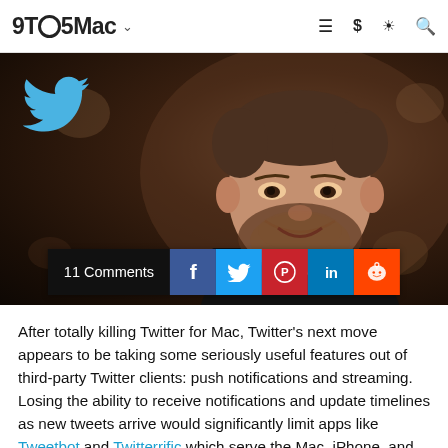9TO5Mac
[Figure (photo): Hero image showing a man with a beard and short hair smiling, wearing a black shirt, against a dark blurred background. A large blue Twitter bird logo is overlaid in the top-left of the image. A social share bar with '11 Comments', Facebook, Twitter, Pinterest, LinkedIn, and Reddit buttons appears at the bottom of the image.]
After totally killing Twitter for Mac, Twitter's next move appears to be taking some seriously useful features out of third-party Twitter clients: push notifications and streaming. Losing the ability to receive notifications and update timelines as new tweets arrive would significantly limit apps like Tweetbot and Twitterrific which serve the Mac, iPhone, and iPad.